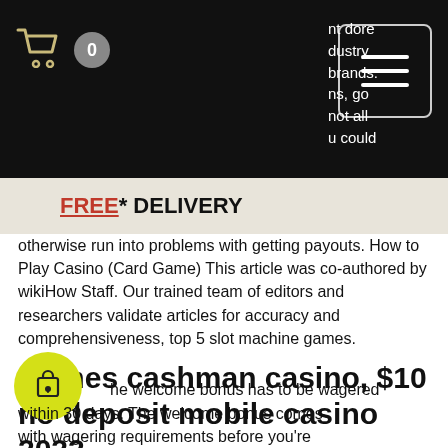[Figure (screenshot): Black navigation bar with shopping cart icon (outline, white), a grey circle badge with '0', and a white-outlined hamburger menu button. Partial text visible on top right: 'nt dore', 'dustry', 'prands.', 'ns, go', 'not all', 'u could']
FREE* DELIVERY
otherwise run into problems with getting payouts. How to Play Casino (Card Game) This article was co-authored by wikiHow Staff. Our trained team of editors and researchers validate articles for accuracy and comprehensiveness, top 5 slot machine games.
Games cashman casino, $10 no deposit mobile casino 2022
The welcome bonus has to be wagered within 30 days. The welcome bonus comes with wagering requirements before you're